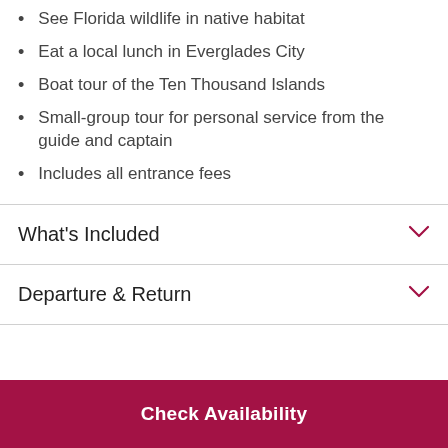See Florida wildlife in native habitat
Eat a local lunch in Everglades City
Boat tour of the Ten Thousand Islands
Small-group tour for personal service from the guide and captain
Includes all entrance fees
What's Included
Departure & Return
Check Availability